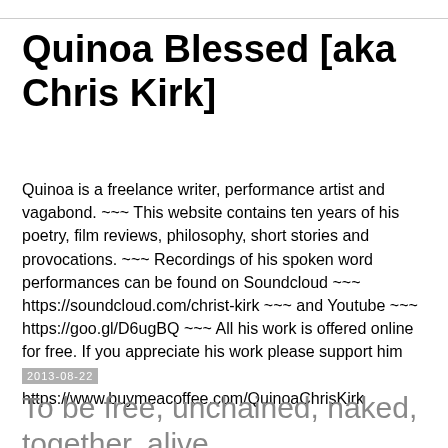Quinoa Blessed [aka Chris Kirk]
Quinoa is a freelance writer, performance artist and vagabond. ~~~ This website contains ten years of his poetry, film reviews, philosophy, short stories and provocations. ~~~ Recordings of his spoken word performances can be found on Soundcloud ~~~ https://soundcloud.com/christ-kirk ~~~ and Youtube ~~~ https://goo.gl/D6ugBQ ~~~ All his work is offered online for free. If you appreciate his work please support him financially https://www.buymeacoffee.com/QuinoaChrisKirk
2013-08-22
To be free, unchained, naked, together, alive.